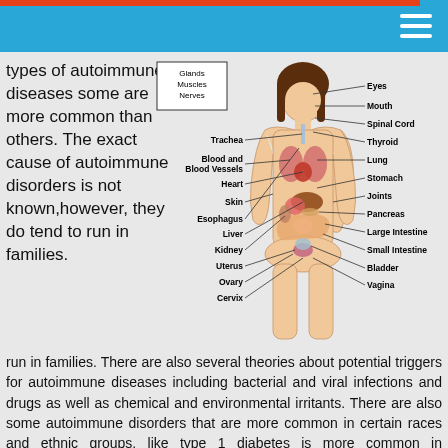[Figure (illustration): Medical diagram of a female human body showing labeled organs and body parts including Eyes, Mouth, Spinal Cord, Thyroid, Lung, Stomach, Joints, Pancreas, Large Intestine, Small Intestine, Bladder, Vagina on the right side; and Trachea, Blood and Blood Vessels, Heart, Skin, Esophagus, Liver, Kidney, Uterus, Ovary, Cervix on the left side. A box in upper left lists Glands, Muscles, Nerves.]
types of autoimmune diseases some are more common than others.  The exact cause of autoimmune disorders is not known,however, they do tend to run in families.  There are also several theories about potential triggers for autoimmune diseases including bacterial and viral infections and drugs as well as chemical and environmental irritants.  There are also some autoimmune disorders that are more common in certain races and ethnic groups, like type 1 diabetes is more common in Caucasians while lupus is more severe in African Americans and Hispanics.